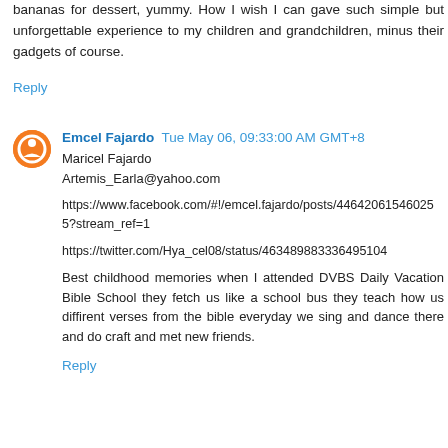bananas for dessert, yummy. How I wish I can gave such simple but unforgettable experience to my children and grandchildren, minus their gadgets of course.
Reply
Emcel Fajardo  Tue May 06, 09:33:00 AM GMT+8
Maricel Fajardo
Artemis_Earla@yahoo.com

https://www.facebook.com/#!/emcel.fajardo/posts/446420615460255?stream_ref=1

https://twitter.com/Hya_cel08/status/463489883336495104

Best childhood memories when I attended DVBS Daily Vacation Bible School they fetch us like a school bus they teach how us diffirent verses from the bible everyday we sing and dance there and do craft and met new friends.
Reply